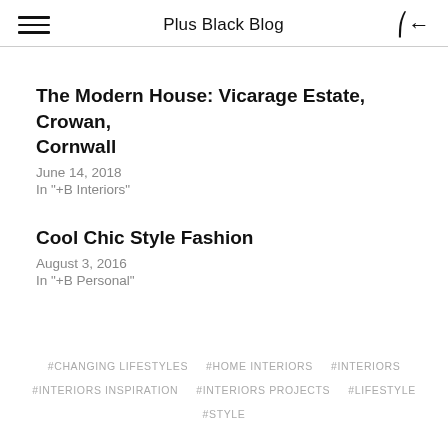Plus Black Blog
The Modern House: Vicarage Estate, Crowan, Cornwall
June 14, 2018
In "+B Interiors"
Cool Chic Style Fashion
August 3, 2016
In "+B Personal"
#CHANGING LIFESTYLES
#HOME INTERIORS
#INTERIORS
#INTERIORS INSPIRATION
#INTERIORS PROJECTS
#LIFESTYLE
#STYLE